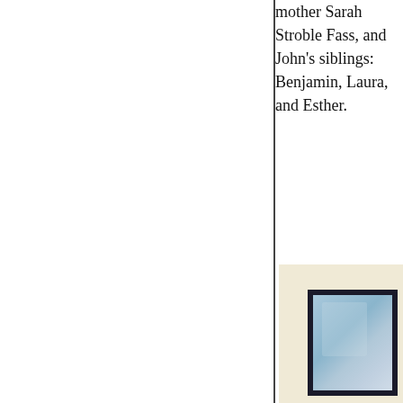mother Sarah Stroble Fass, and John's siblings: Benjamin, Laura, and Esther.
[Figure (photo): A framed photograph with a dark/black frame set against a cream/beige background. The photo inside appears to show a light blue-toned image, partially visible as the frame is cropped at the right and bottom edges.]